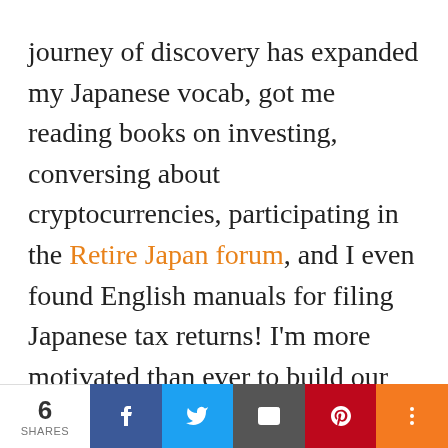journey of discovery has expanded my Japanese vocab, got me reading books on investing, conversing about cryptocurrencies, participating in the Retire Japan forum, and I even found English manuals for filing Japanese tax returns! I'm more motivated than ever to build our English school, renovate our house, and ensure we get a solid pension.

When my wife gave me those bank books,
6 SHARES | Facebook | Twitter | Email | Pinterest | More